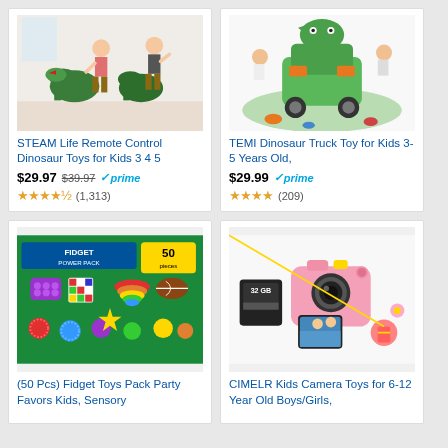[Figure (photo): Two children playing with large remote control dinosaur toys on a living room floor]
STEAM Life Remote Control Dinosaur Toys for Kids 3 4 5
$29.97 $39.97 ✓prime ★★★★½ (1,313)
[Figure (photo): Young children playing with TEMI dinosaur truck toy surrounded by smaller dinosaur figures]
TEMI Dinosaur Truck Toy for Kids 3-5 Years Old,
$29.99 ✓prime ★★★★ (209)
[Figure (photo): 50 piece fidget toys pack with various fidget items displayed on colorful background]
(50 Pcs) Fidget Toys Pack Party Favors Kids, Sensory
[Figure (photo): Pink CIMELR kids camera with 32GB card shown alongside camera display screen]
CIMELR Kids Camera Toys for 6-12 Year Old Boys/Girls,